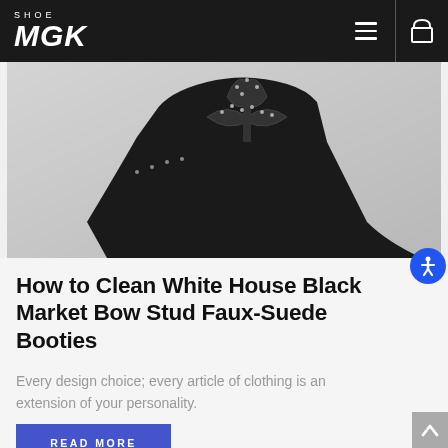SHOE MGK
[Figure (photo): Close-up of a black stiletto bootie with a studded bow detail on the ankle, shot against a light gray background]
How to Clean White House Black Market Bow Stud Faux-Suede Booties
Every design choice; every article of clothing is an extension of your personality.
READ MORE